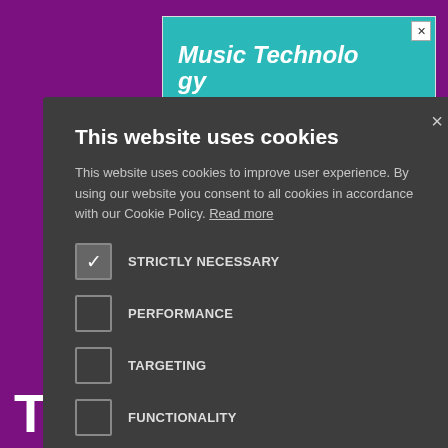[Figure (screenshot): Website background showing a teal/cyan music technology advertisement banner with 'Music Technology' text and keyboard/controller images, and a purple section at the bottom with 'TEACHER' text in white]
This website uses cookies
This website uses cookies to improve user experience. By using our website you consent to all cookies in accordance with our Cookie Policy. Read more
STRICTLY NECESSARY
PERFORMANCE
TARGETING
FUNCTIONALITY
UNCLASSIFIED
ACCEPT ALL
DECLINE ALL
SHOW DETAILS